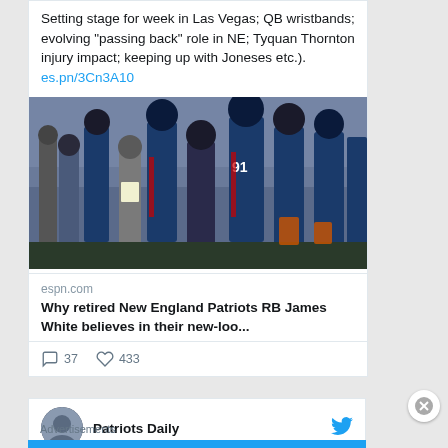Setting stage for week in Las Vegas; QB wristbands; evolving "passing back" role in NE; Tyquan Thornton injury impact; keeping up with Joneses etc.). es.pn/3Cn3A10
[Figure (photo): New England Patriots players and coaches standing on the sideline in dark navy uniforms, number 91 visible, coaching staff in grey]
espn.com
Why retired New England Patriots RB James White believes in their new-loo...
37 comments  433 likes
Patriots Daily
Advertisements